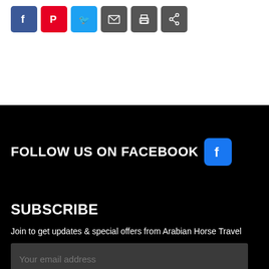[Figure (infographic): Row of social sharing icons: Facebook (blue), Pinterest (red), Twitter (blue), Email (grey), Print (grey), Share (grey)]
FOLLOW US ON FACEBOOK
SUBSCRIBE
Join to get updates & special offers from Arabian Horse Travel